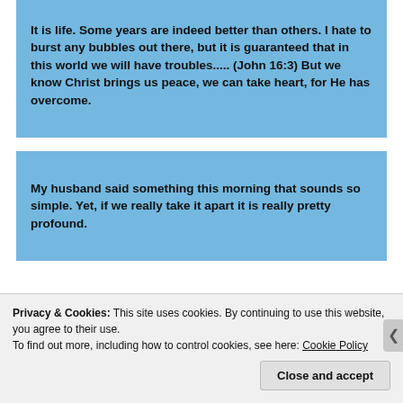It is life. Some years are indeed better than others. I hate to burst any bubbles out there, but it is guaranteed that in this world we will have troubles..... (John 16:3)  But we know Christ brings us peace, we can take heart, for He has overcome.
My husband said something this morning that sounds so simple.  Yet, if we really take it apart it is really pretty profound.
By T...
Privacy & Cookies: This site uses cookies. By continuing to use this website, you agree to their use.
To find out more, including how to control cookies, see here: Cookie Policy